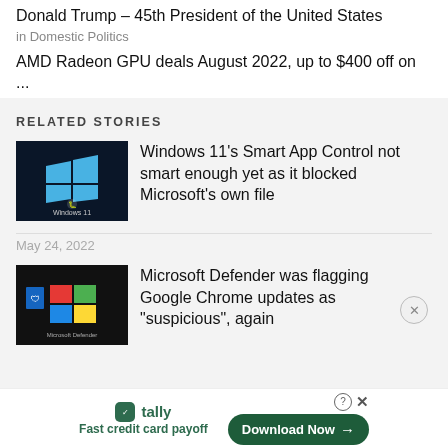Donald Trump – 45th President of the United States
in Domestic Politics
AMD Radeon GPU deals August 2022, up to $400 off on ...
in Front Page News
RELATED STORIES
[Figure (screenshot): Windows 11 logo with a bug icon on dark blue background]
Windows 11's Smart App Control not smart enough yet as it blocked Microsoft's own file
May 24, 2022
[Figure (screenshot): Microsoft Defender logo with colorful Windows squares on dark background]
Microsoft Defender was flagging Google Chrome updates as "suspicious", again
tally Fast credit card payoff Download Now →